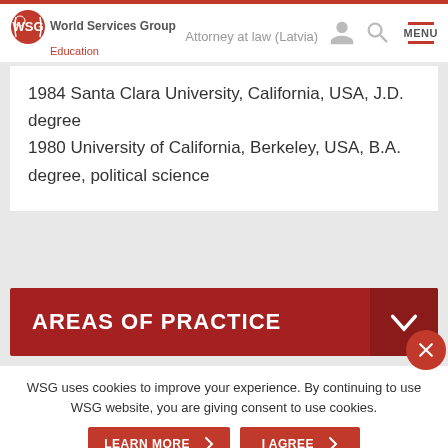Attorney at law (Latvia) | World Services Group | Education
1984 Santa Clara University, California, USA, J.D. degree
1980 University of California, Berkeley, USA, B.A. degree, political science
AREAS OF PRACTICE
WSG uses cookies to improve your experience. By continuing to use WSG website, you are giving consent to use cookies.